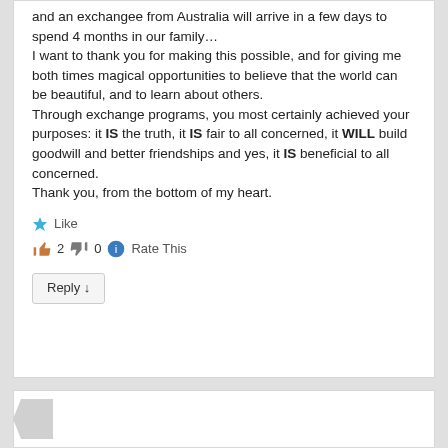and an exchangee from Australia will arrive in a few days to spend 4 months in our family… I want to thank you for making this possible, and for giving me both times magical opportunities to believe that the world can be beautiful, and to learn about others. Through exchange programs, you most certainly achieved your purposes: it IS the truth, it IS fair to all concerned, it WILL build goodwill and better friendships and yes, it IS beneficial to all concerned. Thank you, from the bottom of my heart.
★ Like
👍 2  👎 0  ℹ Rate This
Reply ↓